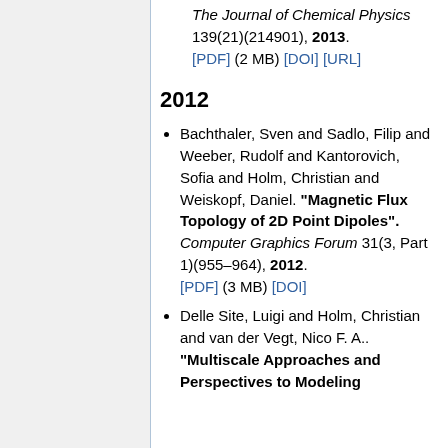The Journal of Chemical Physics 139(21)(214901), 2013. [PDF] (2 MB) [DOI] [URL]
2012
Bachthaler, Sven and Sadlo, Filip and Weeber, Rudolf and Kantorovich, Sofia and Holm, Christian and Weiskopf, Daniel. "Magnetic Flux Topology of 2D Point Dipoles". Computer Graphics Forum 31(3, Part 1)(955–964), 2012. [PDF] (3 MB) [DOI]
Delle Site, Luigi and Holm, Christian and van der Vegt, Nico F. A.. "Multiscale Approaches and Perspectives to Modeling